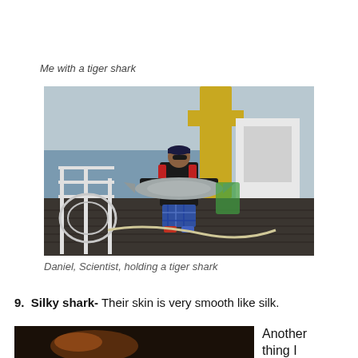Me with a tiger shark
[Figure (photo): A scientist standing on a boat deck holding a large tiger shark, wearing a cap and red life vest with blue shorts]
Daniel, Scientist, holding a tiger shark
9.  Silky shark- Their skin is very smooth like silk.
[Figure (photo): Partial photo of a shark at the bottom of the page]
Another thing I